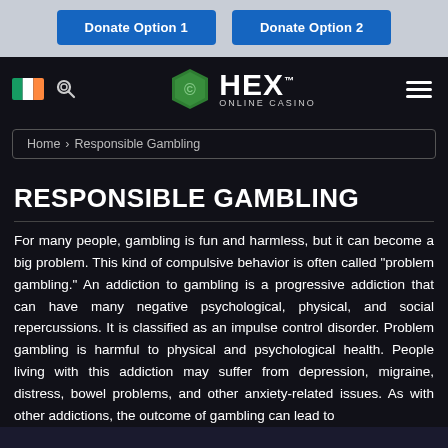[Figure (screenshot): Top banner with two blue donate buttons: 'Donate Option 1' and 'Donate Option 2' on a light gray background]
[Figure (logo): HEX Online Casino logo with green hexagon icon and white text on dark background, flanked by Irish flag and search icon on left and hamburger menu on right]
Home > Responsible Gambling
RESPONSIBLE GAMBLING
For many people, gambling is fun and harmless, but it can become a big problem. This kind of compulsive behavior is often called "problem gambling." An addiction to gambling is a progressive addiction that can have many negative psychological, physical, and social repercussions. It is classified as an impulse control disorder. Problem gambling is harmful to physical and psychological health. People living with this addiction may suffer from depression, migraine, distress, bowel problems, and other anxiety-related issues. As with other addictions, the outcome of gambling can lead to